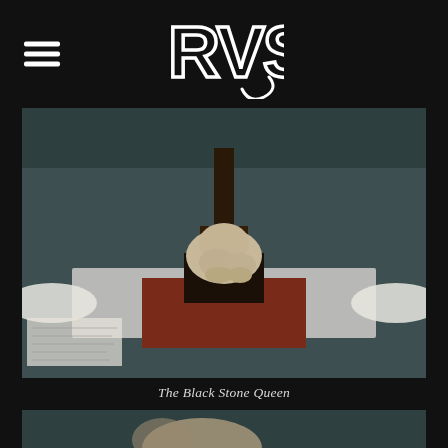RVS (logo)
[Figure (photo): Museum display case showing a pale stone sculpture of a crouching figure without a head, mounted on a dark square plinth with a vertical dark post rising above it, placed on a reddish-brown square platform in a dimly lit gallery. White text card visible at lower left.]
The Black Stone Queen
[Figure (photo): Second museum display case partially visible, showing another pale sculptural artifact in a dark gallery setting.]